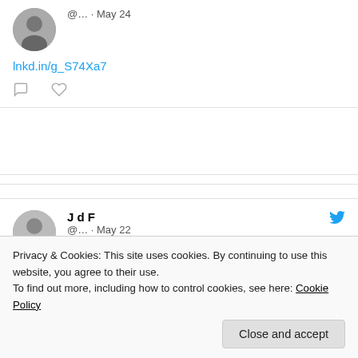[Figure (screenshot): Tweet card: user @... May 24, link lnkd.in/g_S74Xa7, with comment and heart icons]
[Figure (screenshot): Tweet card: J d F @... May 22, Twitter bird icon, link lnkd.in/gdV_XFwT, with comment and heart icons]
[Figure (screenshot): Tweet card: J d F @... May 14, Twitter bird icon, partially visible]
Privacy & Cookies: This site uses cookies. By continuing to use this website, you agree to their use.
To find out more, including how to control cookies, see here: Cookie Policy
Close and accept